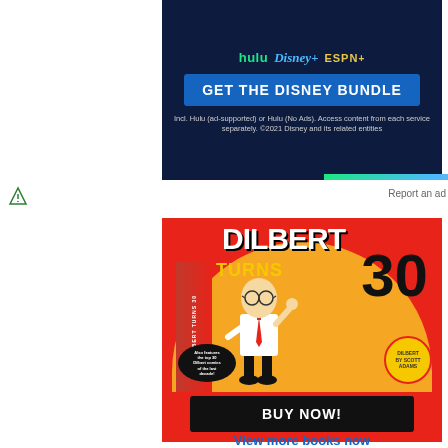[Figure (other): Disney Bundle advertisement banner showing Hulu, Disney+, and ESPN+ logos with 'GET THE DISNEY BUNDLE' button and fine print text on dark navy background]
Report an ad
[Figure (other): Dilbert Turns 30 book advertisement on red background with orange arc, showing book cover with Dilbert character, 'DILBERT TURNS 30' title, and 'BUY NOW!' button]
View more books now